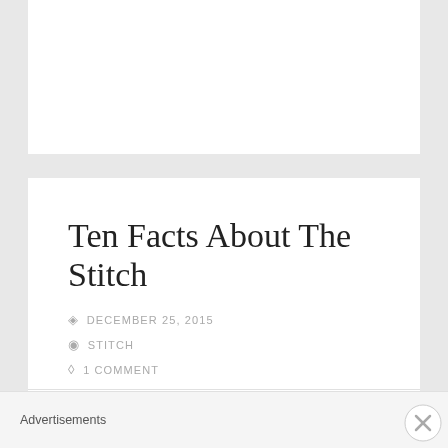Ten Facts About The Stitch
DECEMBER 25, 2015
STITCH
1 COMMENT
[Figure (illustration): Partial circular shapes (tops of round objects) visible at bottom of article card]
Advertisements